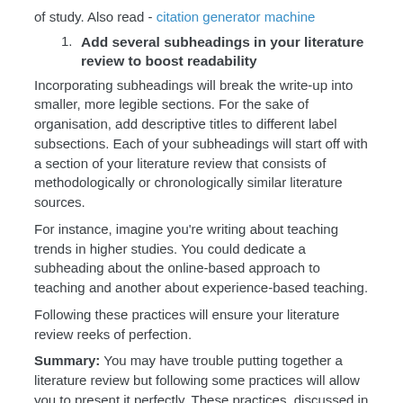of study. Also read - citation generator machine
1. Add several subheadings in your literature review to boost readability
Incorporating subheadings will break the write-up into smaller, more legible sections. For the sake of organisation, add descriptive titles to different label subsections. Each of your subheadings will start off with a section of your literature review that consists of methodologically or chronologically similar literature sources.
For instance, imagine you’re writing about teaching trends in higher studies. You could dedicate a subheading about the online-based approach to teaching and another about experience-based teaching.
Following these practices will ensure your literature review reeks of perfection.
Summary: You may have trouble putting together a literature review but following some practices will allow you to present it perfectly. These practices, discussed in the post will